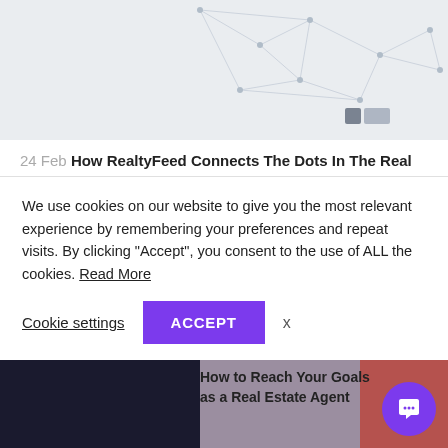[Figure (illustration): Abstract network/polygon geometric illustration with dots and lines on light gray background, with two small logos in bottom right corner]
24 Feb How RealtyFeed Connects The Dots In The Real
Creativity involves finding new patterns, connecting between totally random concepts, and coming up with solutions. To evolve a business entity,
We use cookies on our website to give you the most relevant experience by remembering your preferences and repeat visits. By clicking “Accept”, you consent to the use of ALL the cookies. Read More
Cookie settings
ACCEPT
x
[Figure (photo): Bottom strip showing text 'How to Reach Your Goals as a Real Estate Agent' with a photo of a person on the right side]